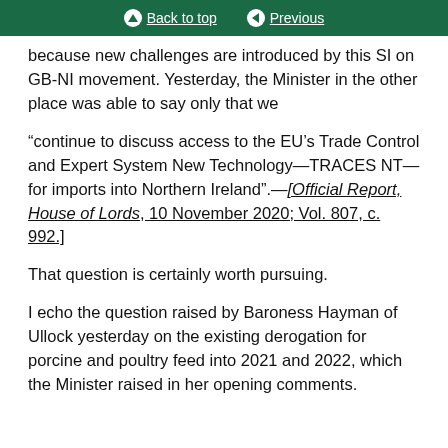Back to top | Previous
because new challenges are introduced by this SI on GB-NI movement. Yesterday, the Minister in the other place was able to say only that we
“continue to discuss access to the EU’s Trade Control and Expert System New Technology—TRACES NT—for imports into Northern Ireland”.—[Official Report, House of Lords, 10 November 2020; Vol. 807, c. 992.]
That question is certainly worth pursuing.
I echo the question raised by Baroness Hayman of Ullock yesterday on the existing derogation for porcine and poultry feed into 2021 and 2022, which the Minister raised in her opening comments.